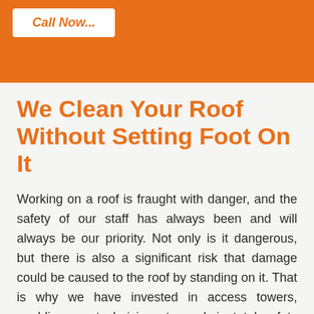Call Now...
We Clean Your Roof Without Setting Foot On It
Working on a roof is fraught with danger, and the safety of our staff has always been and will always be our priority. Not only is it dangerous, but there is also a significant risk that damage could be caused to the roof by standing on it. That is why we have invested in access towers, enabling our technicians to work in total safety without setting foot on your roof. It is only in very rare exceptions where we cannot access your roof any other way we use roof ladders. Although we do not want to